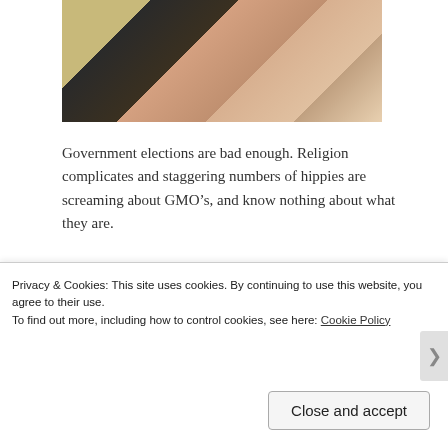[Figure (photo): Partial top photo showing people in colorful clothing, cropped at the top of the page]
Government elections are bad enough. Religion complicates and staggering numbers of hippies are screaming about GMO’s, and know nothing about what they are.
Relations between the opposing forces are chilling. Polar faiths, known for sure to be correct. It’s not surprising, an overwhelming number of people, most of us, are trying to “keep it in the middle.” Agitated at times, empowering the
Privacy & Cookies: This site uses cookies. By continuing to use this website, you agree to their use.
To find out more, including how to control cookies, see here: Cookie Policy
Close and accept